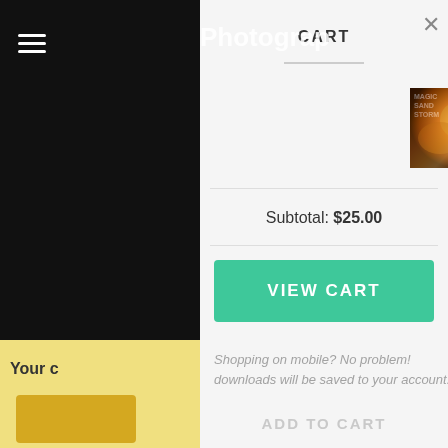[Figure (screenshot): Shopping cart overlay on a photography website. Shows a cart panel with 'CART' title, a product 'Magic Sandstorm Action for Photoshop' priced at 1 × $25.00, subtotal of $25.00, a teal 'VIEW CART' button, a mobile shopping message, and an 'ADD TO CART' ghost button. Left side shows a dark sidebar with hamburger menu and partially visible 'Photography' logo text. Bottom left shows a yellow promotional section.]